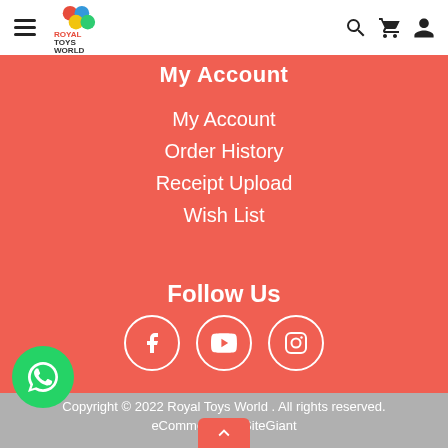Royal Toys World - site header with hamburger menu, logo, search, cart, and account icons
My Account
My Account
Order History
Receipt Upload
Wish List
Follow Us
[Figure (infographic): Three social media icon circles: Facebook, YouTube, Instagram]
Copyright © 2022 Royal Toys World . All rights reserved.
eCommerce by SiteGiant